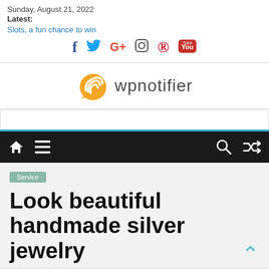Sunday, August 21, 2022
Latest:
Slots, a fun chance to win
[Figure (logo): wpnotifier logo with orange wifi-style signal icon and text 'wpnotifier']
[Figure (other): Navigation bar with home icon, hamburger menu, search icon, and shuffle icon on dark background with blue top border]
Service
Look beautiful handmade silver jewelry